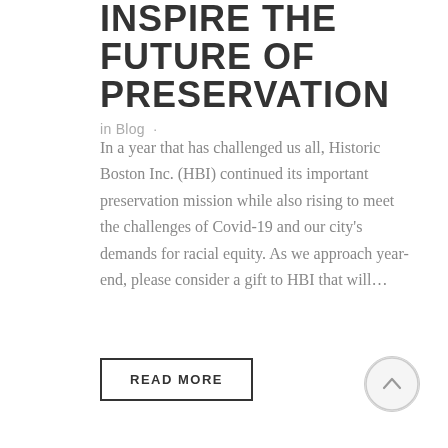INSPIRE THE FUTURE OF PRESERVATION
in Blog ·
In a year that has challenged us all, Historic Boston Inc. (HBI) continued its important preservation mission while also rising to meet the challenges of Covid-19 and our city's demands for racial equity. As we approach year-end, please consider a gift to HBI that will…
READ MORE